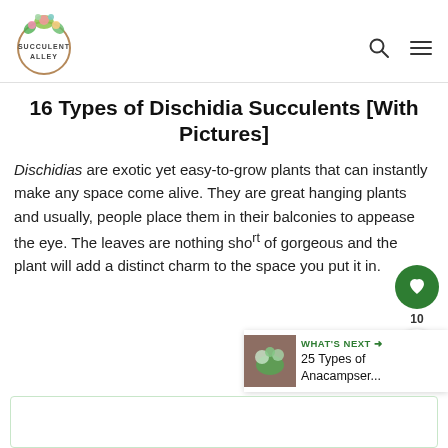Succulent Alley
16 Types of Dischidia Succulents [With Pictures]
Dischidias are exotic yet easy-to-grow plants that can instantly make any space come alive. They are great hanging plants and usually, people place them in their balconies to appease the eye. The leaves are nothing short of gorgeous and the plant will add a distinct charm to the space you put it in.
[Figure (infographic): Sidebar widget with heart/like button showing count of 10, and a share button]
[Figure (infographic): WHAT'S NEXT panel showing thumbnail of plant and text: 25 Types of Anacampser...]
[Figure (other): Bottom bordered box, partially visible]